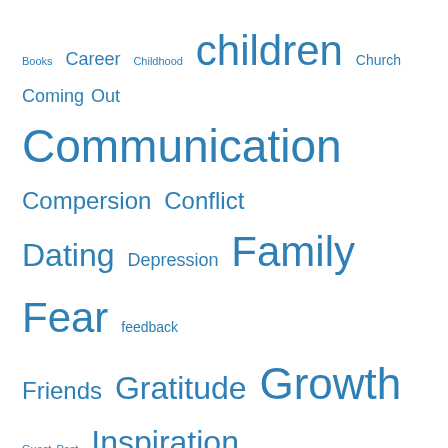[Figure (infographic): Tag cloud with terms in various sizes in blue: Books, Career, Childhood, children, Church, Coming Out, Communication, Compersion, Conflict, Dating, Depression, Family, Fear, feedback, Friends, Gratitude, Growth, Guest Post, Inspiration, Introvert, Jealousy, Kink, Love, Metamour, MI, Music, My, Marriage, non-monogamy, OkCupid, Poetry, Poly, Polyamory, Quote, Rant, Relationships, Secondary, Self Improvement, Sex, Swinging, Writing]
Follow Blog via Email
Enter your email address to follow this blog and receive notifications of new posts by email.